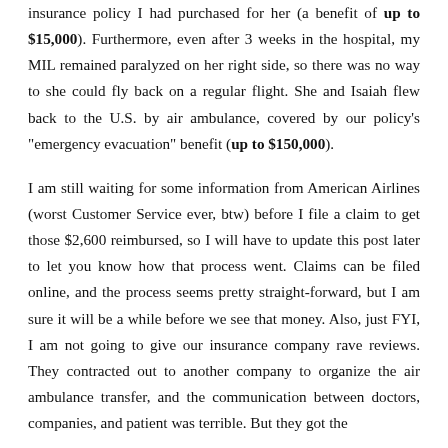insurance policy I had purchased for her (a benefit of up to $15,000). Furthermore, even after 3 weeks in the hospital, my MIL remained paralyzed on her right side, so there was no way to she could fly back on a regular flight. She and Isaiah flew back to the U.S. by air ambulance, covered by our policy's "emergency evacuation" benefit (up to $150,000).
I am still waiting for some information from American Airlines (worst Customer Service ever, btw) before I file a claim to get those $2,600 reimbursed, so I will have to update this post later to let you know how that process went. Claims can be filed online, and the process seems pretty straight-forward, but I am sure it will be a while before we see that money. Also, just FYI, I am not going to give our insurance company rave reviews. They contracted out to another company to organize the air ambulance transfer, and the communication between doctors, companies, and patient was terrible. But they got the